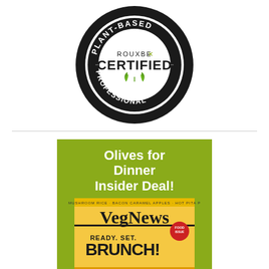[Figure (logo): Rouxbe Plant-Based Certified Professional circular badge/seal in black and white with green leaf accents]
[Figure (illustration): Olives for Dinner Insider Deal advertisement on olive-green background featuring VegNews magazine cover with text 'Ready. Set. Brunch! The Summer Issue']